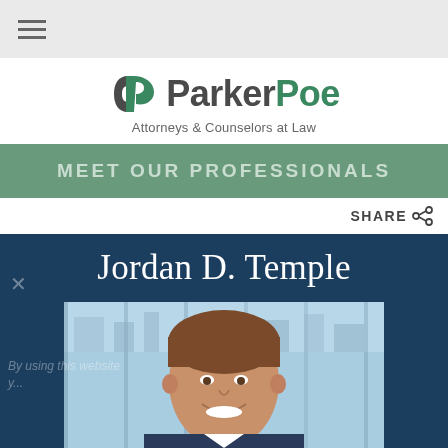☰ (hamburger menu)
[Figure (logo): Parker Poe Attorneys & Counselors at Law logo with stylized dp monogram in dark grey/green]
MEET OUR PROFESSIONALS
SHARE
Jordan D. Temple
[Figure (photo): Professional headshot of Jordan D. Temple, a young male attorney smiling, photographed in front of large windows with a city view background]
By using this website y...